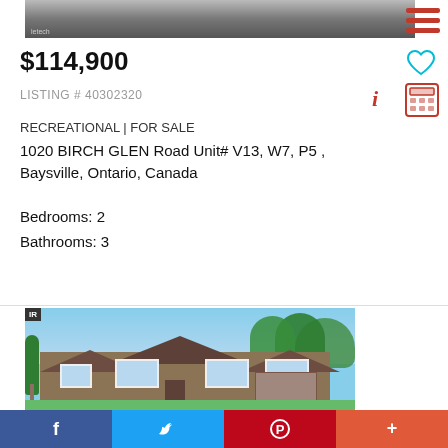[Figure (photo): Top portion of a property photo, dark/blurred item visible]
$114,900
LISTING # 40302320
RECREATIONAL  |  FOR SALE
1020 BIRCH GLEN Road Unit# V13, W7, P5 , Baysville, Ontario, Canada
Bedrooms: 2
Bathrooms: 3
[Figure (photo): Exterior photo of a large craftsman-style house with trees in Baysville Ontario]
[Figure (infographic): Social sharing bar with Facebook, Twitter, Pinterest, and More buttons]